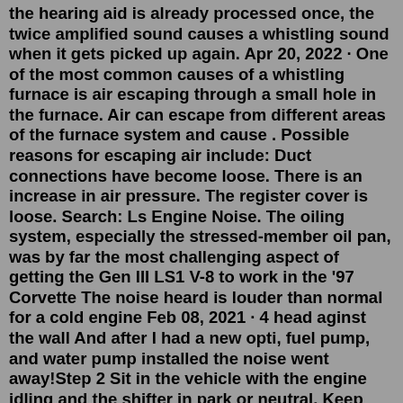the hearing aid is already processed once, the twice amplified sound causes a whistling sound when it gets picked up again. Apr 20, 2022 · One of the most common causes of a whistling furnace is air escaping through a small hole in the furnace. Air can escape from different areas of the furnace system and cause . Possible reasons for escaping air include: Duct connections have become loose. There is an increase in air pressure. The register cover is loose. Search: Ls Engine Noise. The oiling system, especially the stressed-member oil pan, was by far the most challenging aspect of getting the Gen III LS1 V-8 to work in the '97 Corvette The noise heard is louder than normal for a cold engine Feb 08, 2021 · 4 head aginst the wall And after I had a new opti, fuel pump, and water pump installed the noise went away!Step 2 Sit in the vehicle with the engine idling and the shifter in park or neutral. Keep your foot off the brake pedal. Push the accelerator pedal, gently raising the engine rpm. If you notice a humming noise that